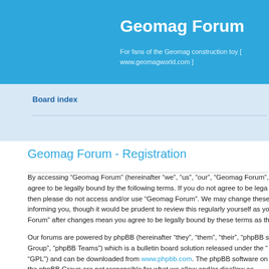Geomag Forum
For fans of the Geomag construction toy [ www.geomagworld.com ]
Board index
Geomag Forum - Registration
By accessing “Geomag Forum” (hereinafter “we”, “us”, “our”, “Geomag Forum”, agree to be legally bound by the following terms. If you do not agree to be lega then please do not access and/or use “Geomag Forum”. We may change these informing you, though it would be prudent to review this regularly yourself as yo Forum” after changes mean you agree to be legally bound by these terms as th
Our forums are powered by phpBB (hereinafter “they”, “them”, “their”, “phpBB s Group”, “phpBB Teams”) which is a bulletin board solution released under the “ “GPL”) and can be downloaded from www.phpbb.com. The phpBB software on the phpBB Group are not responsible for what we allow and/or disallow as perm further information about phpBB, please see: http://www.phpbb.com/.
You agree not to post any abusive, obscene, vulgar, slanderous, hateful, threat material that may violate any laws be it of your country, the country where “Ge